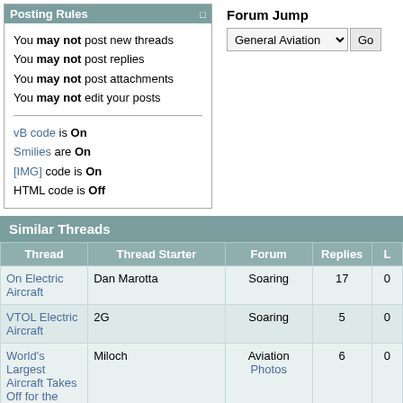Posting Rules
You may not post new threads
You may not post replies
You may not post attachments
You may not edit your posts
vB code is On
Smilies are On
[IMG] code is On
HTML code is Off
Forum Jump
Similar Threads
| Thread | Thread Starter | Forum | Replies | L |
| --- | --- | --- | --- | --- |
| On Electric Aircraft | Dan Marotta | Soaring | 17 |  |
| VTOL Electric Aircraft | 2G | Soaring | 5 |  |
| World's Largest Aircraft Takes Off for the First Time, Still... | Miloch | Aviation Photos | 6 |  |